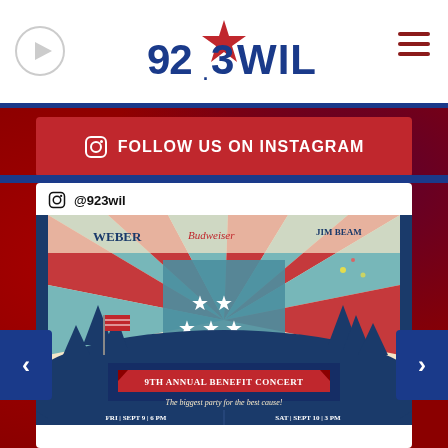[Figure (logo): 92.3 WIL radio station logo with red star and blue bold text]
FOLLOW US ON INSTAGRAM
@923wil
[Figure (illustration): Songs 4 Soldiers 9th Annual Benefit Concert event poster with patriotic red, white, teal color scheme, stars, American flag silhouette, trees, fireworks, sponsor logos (Weber, Budweiser, Jim Beam), tagline 'The biggest party for the best cause!', dates FRI | SEPT 9 | 6 PM and SAT | SEPT 10 | 3 PM, 105.7 THE POINT presents and 92.3 WIL presents]